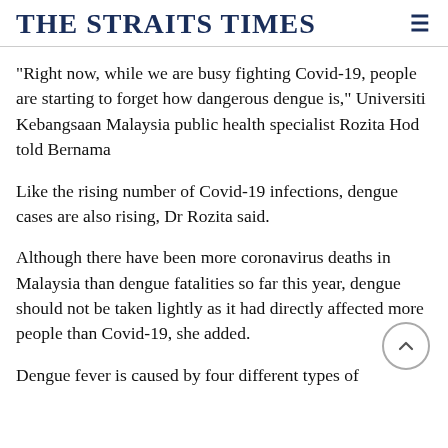THE STRAITS TIMES
"Right now, while we are busy fighting Covid-19, people are starting to forget how dangerous dengue is," Universiti Kebangsaan Malaysia public health specialist Rozita Hod told Bernama
Like the rising number of Covid-19 infections, dengue cases are also rising, Dr Rozita said.
Although there have been more coronavirus deaths in Malaysia than dengue fatalities so far this year, dengue should not be taken lightly as it had directly affected more people than Covid-19, she added.
Dengue fever is caused by four different types of